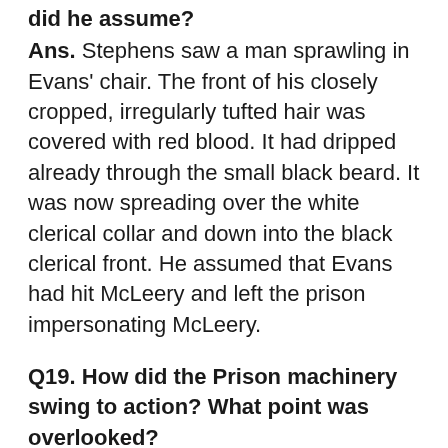did he assume?
Ans. Stephens saw a man sprawling in Evans' chair. The front of his closely cropped, irregularly tufted hair was covered with red blood. It had dripped already through the small black beard. It was now spreading over the white clerical collar and down into the black clerical front. He assumed that Evans had hit McLeery and left the prison impersonating McLeery.
Q19. How did the Prison machinery swing to action? What point was overlooked?
Ans. Sirens were sounded. Prison officers shouted orders. Puzzled prisoners pushed their way along the corridors. Doors were banged and bolted. Phones were ringing